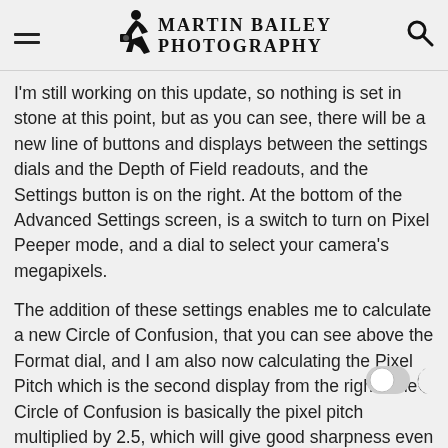Martin Bailey Photography
I'm still working on this update, so nothing is set in stone at this point, but as you can see, there will be a new line of buttons and displays between the settings dials and the Depth of Field readouts, and the Settings button is on the right. At the bottom of the Advanced Settings screen, is a switch to turn on Pixel Peeper mode, and a dial to select your camera's megapixels.
The addition of these settings enables me to calculate a new Circle of Confusion, that you can see above the Format dial, and I am also now calculating the Pixel Pitch which is the second display from the right. The Circle of Confusion is basically the pixel pitch multiplied by 2.5, which will give good sharpness even when viewed at 100%.